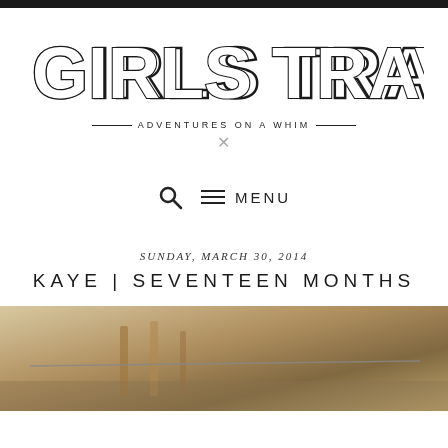GIRLS TRAVELING
— ADVENTURES ON A WHIM —
[Figure (other): Decorative ornament cross symbol]
MENU
SUNDAY, MARCH 30, 2014
KAYE | SEVENTEEN MONTHS
[Figure (photo): Photo of a child or person outdoors, warm earthy tones, wooden and metal elements visible]